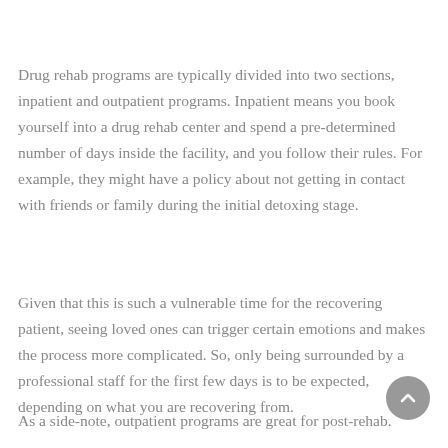Drug rehab programs are typically divided into two sections, inpatient and outpatient programs. Inpatient means you book yourself into a drug rehab center and spend a pre-determined number of days inside the facility, and you follow their rules. For example, they might have a policy about not getting in contact with friends or family during the initial detoxing stage.
Given that this is such a vulnerable time for the recovering patient, seeing loved ones can trigger certain emotions and makes the process more complicated. So, only being surrounded by a professional staff for the first few days is to be expected, depending on what you are recovering from.
As a side-note, outpatient programs are great for post-rehab.